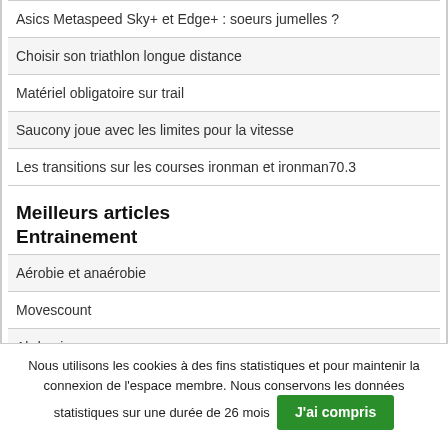Asics Metaspeed Sky+ et Edge+ : soeurs jumelles ?
Choisir son triathlon longue distance
Matériel obligatoire sur trail
Saucony joue avec les limites pour la vitesse
Les transitions sur les courses ironman et ironman70.3
Meilleurs articles
Entrainement
Aérobie et anaérobie
Movescount
Abdominaux
Nous utilisons les cookies à des fins statistiques et pour maintenir la connexion de l'espace membre. Nous conservons les données statistiques sur une durée de 26 mois  J'ai compris